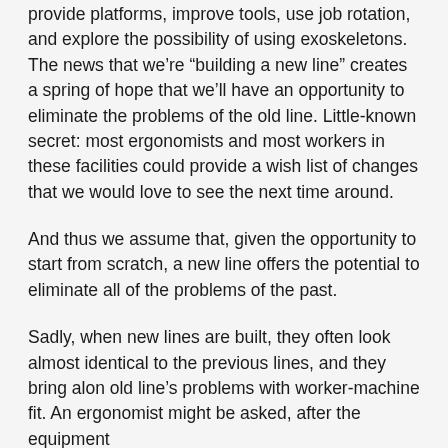provide platforms, improve tools, use job rotation, and explore the possibility of using exoskeletons. The news that we're “building a new line” creates a spring of hope that we'll have an opportunity to eliminate the problems of the old line. Little-known secret: most ergonomists and most workers in these facilities could provide a wish list of changes that we would love to see the next time around.
And thus we assume that, given the opportunity to start from scratch, a new line offers the potential to eliminate all of the problems of the past.
Sadly, when new lines are built, they often look almost identical to the previous lines, and they bring along old line’s problems with worker-machine fit. An ergonomist might be asked, after the equipment